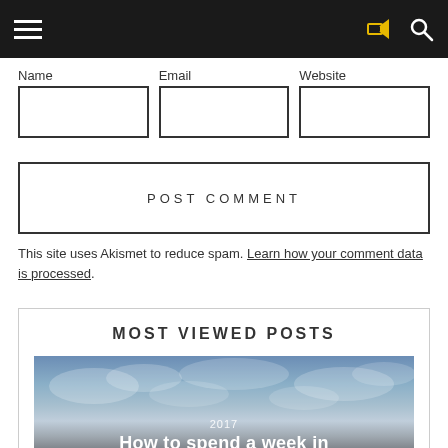Navigation bar with hamburger menu, share icon, and search icon
Name   Email   Website
[Figure (other): Three input form fields: Name, Email, Website]
[Figure (other): POST COMMENT button]
This site uses Akismet to reduce spam. Learn how your comment data is processed.
MOST VIEWED POSTS
[Figure (photo): Sky/clouds background image with overlay text '2017' and 'How to spend a week in']